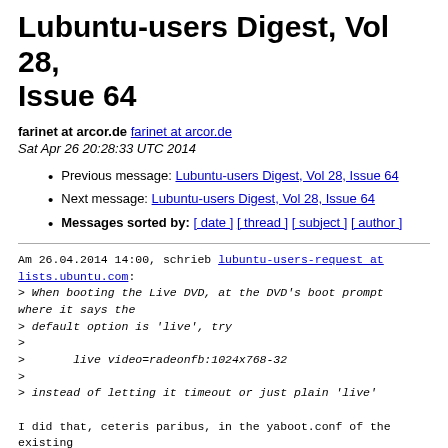Lubuntu-users Digest, Vol 28, Issue 64
farinet at arcor.de  farinet at arcor.de
Sat Apr 26 20:28:33 UTC 2014
Previous message: Lubuntu-users Digest, Vol 28, Issue 64
Next message: Lubuntu-users Digest, Vol 28, Issue 64
Messages sorted by: [ date ] [ thread ] [ subject ] [ author ]
Am 26.04.2014 14:00, schrieb lubuntu-users-request at lists.ubuntu.com:
> When booting the Live DVD, at the DVD's boot prompt where it says the
> default option is 'live', try
>
>       live video=radeonfb:1024x768-32
>
> instead of letting it timeout or just plain 'live'

I did that, ceteris paribus, in the yaboot.conf of the existing
debian/mint installation and i. e. like this